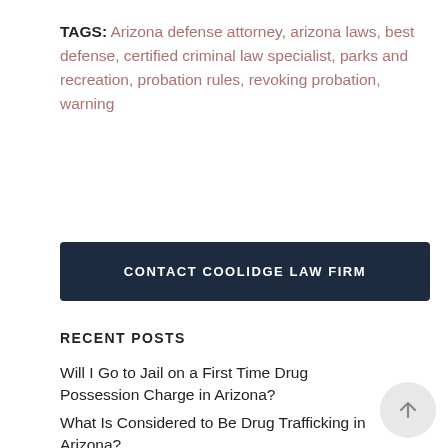TAGS: Arizona defense attorney, arizona laws, best defense, certified criminal law specialist, parks and recreation, probation rules, revoking probation, warning
CONTACT COOLIDGE LAW FIRM
RECENT POSTS
Will I Go to Jail on a First Time Drug Possession Charge in Arizona?
What Is Considered to Be Drug Trafficking in Arizona?
Is Criminal Trespassing a Felony in